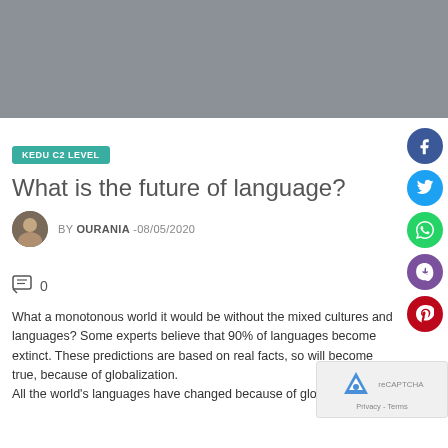[Figure (photo): Hero image placeholder - grey rectangle at top of page]
KEDU C2 LEVEL
What is the future of language?
BY OURANIA -08/05/2020
0
What a monotonous world it would be without the mixed cultures and languages? Some experts believe that 90% of languages become extinct. These predictions are based on real facts, so will become true, because of globalization.
All the world's languages have changed because of globalization.